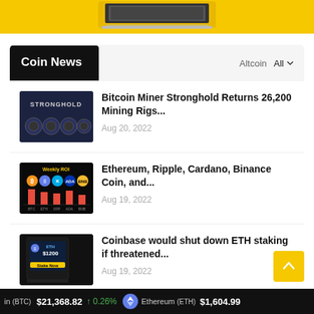[Figure (photo): Yellow banner with laptop computer image]
Coin News
Altcoin  All
[Figure (photo): Stronghold Bitcoin mining rigs image]
Bitcoin Miner Stronghold Returns 26,200 Mining Rigs...
Aug 20, 2022
[Figure (photo): Weekly ROI crypto chart image]
Ethereum, Ripple, Cardano, Binance Coin, and...
Aug 19, 2022
[Figure (photo): Coinbase ETH staking phone screen image]
Coinbase would shut down ETH staking if threatened...
Aug 19, 2022
in (BTC)  $21,368.82  ↑ 0.26%   Ethereum (ETH)  $1,604.99